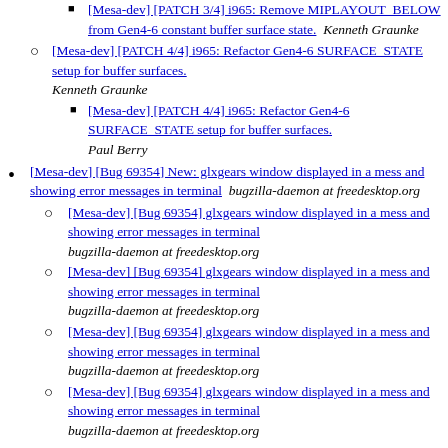[Mesa-dev] [PATCH 3/4] i965: Remove MIPLAYOUT_BELOW from Gen4-6 constant buffer surface state.  Kenneth Graunke
[Mesa-dev] [PATCH 4/4] i965: Refactor Gen4-6 SURFACE_STATE setup for buffer surfaces.  Kenneth Graunke
[Mesa-dev] [PATCH 4/4] i965: Refactor Gen4-6 SURFACE_STATE setup for buffer surfaces.  Paul Berry
[Mesa-dev] [Bug 69354] New: glxgears window displayed in a mess and showing error messages in terminal  bugzilla-daemon at freedesktop.org
[Mesa-dev] [Bug 69354] glxgears window displayed in a mess and showing error messages in terminal  bugzilla-daemon at freedesktop.org
[Mesa-dev] [Bug 69354] glxgears window displayed in a mess and showing error messages in terminal  bugzilla-daemon at freedesktop.org
[Mesa-dev] [Bug 69354] glxgears window displayed in a mess and showing error messages in terminal  bugzilla-daemon at freedesktop.org
[Mesa-dev] [Bug 69354] glxgears window displayed in a mess and showing error messages in terminal  bugzilla-daemon at freedesktop.org